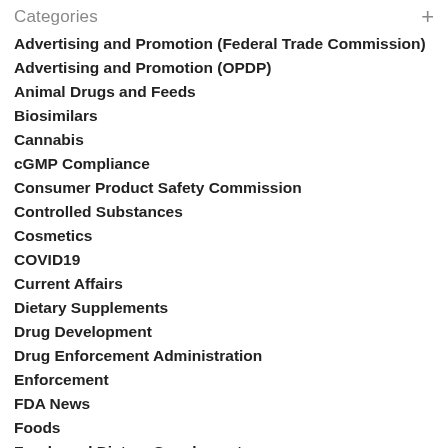Categories
Advertising and Promotion (Federal Trade Commission)
Advertising and Promotion (OPDP)
Animal Drugs and Feeds
Biosimilars
Cannabis
cGMP Compliance
Consumer Product Safety Commission
Controlled Substances
Cosmetics
COVID19
Current Affairs
Dietary Supplements
Drug Development
Drug Enforcement Administration
Enforcement
FDA News
Foods
Foods and Dietary Supplements
Fraud and Abuse